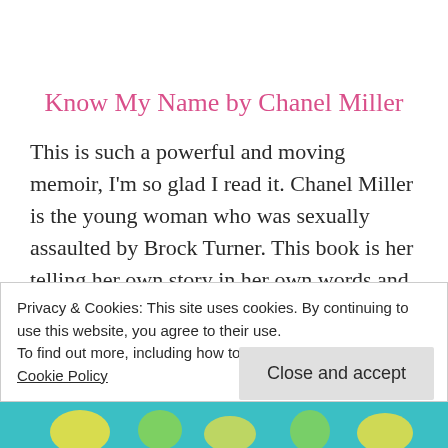Know My Name by Chanel Miller
This is such a powerful and moving memoir, I'm so glad I read it. Chanel Miller is the young woman who was sexually assaulted by Brock Turner. This book is her telling her own story in her own words and she is such a courageous woman. I recommend that everyone
Privacy & Cookies: This site uses cookies. By continuing to use this website, you agree to their use.
To find out more, including how to control cookies, see here:
Cookie Policy
Close and accept
[Figure (illustration): Teal decorative bar at the bottom of the page with yellow/green pattern elements visible]